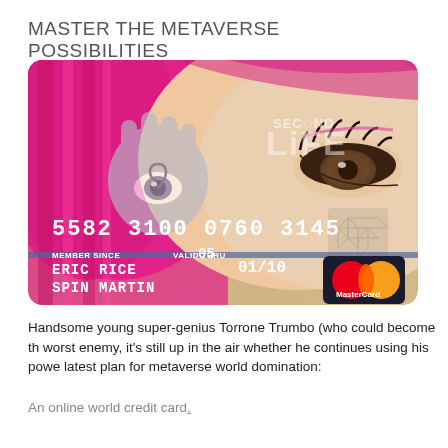MASTER THE METAVERSE POSSIBILITIES
[Figure (photo): A credit card featuring a Second Life-branded design with an anime-style character with pink hair and a visible eye, showing card number 5582 3100 0760 3145, member since 05, valid thru 01/10, names ERIC RICE and SPIN MARTIN, with MasterCard logo]
Handsome young super-genius Torrone Trumbo (who could become the worst enemy, it's still up in the air whether he continues using his powers for latest plan for metaverse world domination:
An online world credit card.